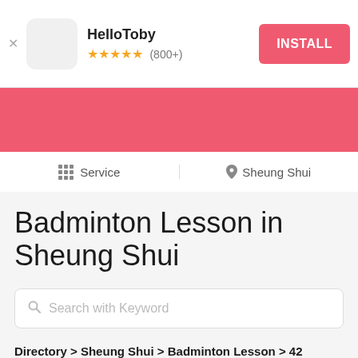[Figure (screenshot): HelloToby app install banner with app icon, name, star rating (800+), and INSTALL button]
[Figure (infographic): Pink/coral decorative bar beneath the install banner]
Service   Sheung Shui
Badminton Lesson in Sheung Shui
Search with Keyword
Directory > Sheung Shui > Badminton Lesson > 42 matched Pro